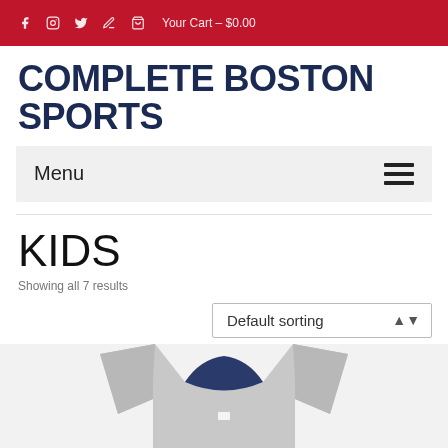f  Instagram  Twitter  Edit  Your Cart – $0.00
COMPLETE BOSTON SPORTS
Menu
KIDS
Showing all 7 results
Default sorting
[Figure (photo): Partial view of a Boston sports kids t-shirt in gray and navy]